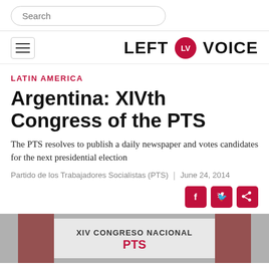Search
[Figure (logo): Left Voice logo with crimson circle containing LV monogram, followed by bold text LEFT VOICE]
LATIN AMERICA
Argentina: XIVth Congress of the PTS
The PTS resolves to publish a daily newspaper and votes candidates for the next presidential election
Partido de los Trabajadores Socialistas (PTS)  |  June 24, 2014
[Figure (photo): Photo of XIV Congreso Nacional PTS banner/backdrop at congress venue]